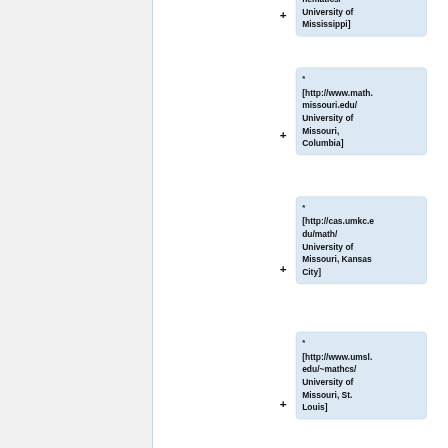* [http://www.math.olemiss.edu/ mathematics/ University of Mississippi]
* [http://www.math.missouri.edu/ University of Missouri, Columbia]
* [http://cas.umkc.edu/math/ University of Missouri, Kansas City]
* [http://www.umsl.edu/~mathcs/ University of Missouri, St. Louis]